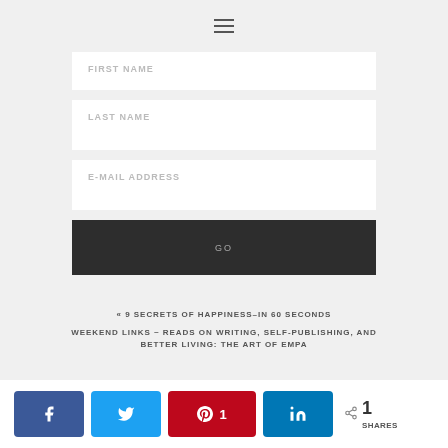[Figure (other): Hamburger menu icon (three horizontal lines)]
FIRST NAME
LAST NAME
E-MAIL ADDRESS
GO
« 9 SECRETS OF HAPPINESS–IN 60 SECONDS
WEEKEND LINKS ~ READS ON WRITING, SELF-PUBLISHING, AND BETTER LIVING: THE ART OF EMPA
< 1 SHARES